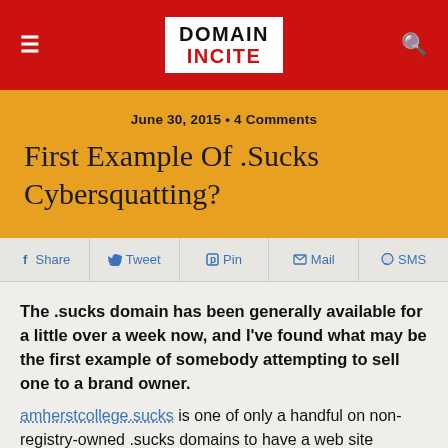DOMAIN INCITE
June 30, 2015 • 4 Comments
First Example Of .Sucks Cybersquatting?
Share  Tweet  Pin  Mail  SMS
The .sucks domain has been generally available for a little over a week now, and I've found what may be the first example of somebody attempting to sell one to a brand owner. amherstcollege.sucks is one of only a handful on non-registry-owned .sucks domains to have a web site already indexed by Google.